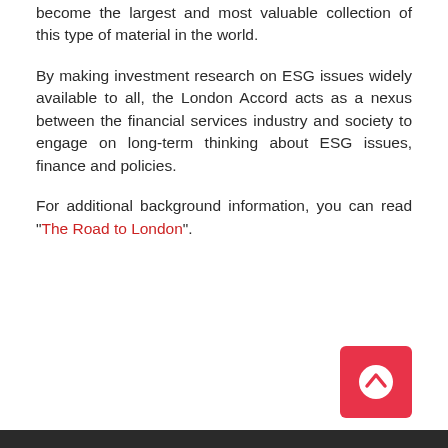become the largest and most valuable collection of this type of material in the world.
By making investment research on ESG issues widely available to all, the London Accord acts as a nexus between the financial services industry and society to engage on long-term thinking about ESG issues, finance and policies.
For additional background information, you can read "The Road to London".
[Figure (other): Back to top button — red rounded square with white upward chevron arrow icon]